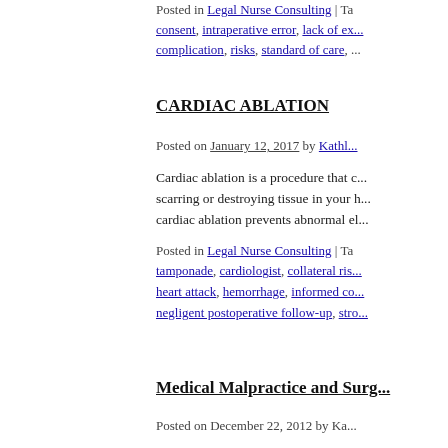Posted in Legal Nurse Consulting | Tags: consent, intraperative error, lack of ex... complication, risks, standard of care, ...
CARDIAC ABLATION
Posted on January 12, 2017 by Kathle...
Cardiac ablation is a procedure that c... scarring or destroying tissue in your h... cardiac ablation prevents abnormal el...
Posted in Legal Nurse Consulting | Tags: tamponade, cardiologist, collateral ris... heart attack, hemorrhage, informed co... negligent postoperative follow-up, stro...
Medical Malpractice and Surg...
Posted on December 22, 2012 by Ka...